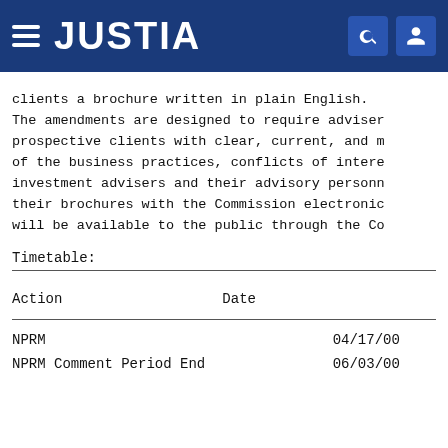JUSTIA
clients a brochure written in plain English. The amendments are designed to require advisers to provide prospective clients with clear, current, and meaningful disclosure of the business practices, conflicts of interest of investment advisers and their advisory personnel, and to file their brochures with the Commission electronically, so they will be available to the public through the Commission's
Timetable:
| Action | Date |
| --- | --- |
| NPRM | 04/17/00 |
| NPRM Comment Period End | 06/03/00 |